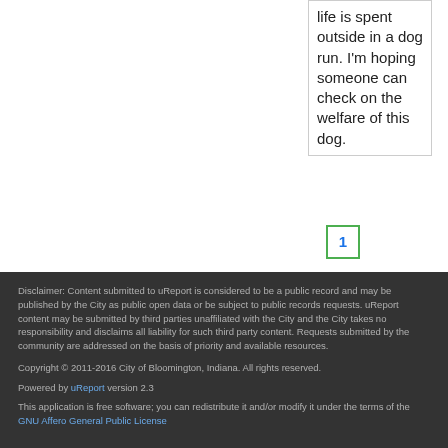life is spent outside in a dog run. I'm hoping someone can check on the welfare of this dog.
1
Disclaimer: Content submitted to uReport is considered to be a public record and may be published by the City as public open data or be subject to public records requests. uReport content may be submitted by third parties unaffiliated with the City and the City takes no responsibility and disclaims all liability for such third party content. Requests submitted by the community are addressed on the basis of priority and available resources.

Copyright © 2011-2016 City of Bloomington, Indiana. All rights reserved.

Powered by uReport version 2.3

This application is free software; you can redistribute it and/or modify it under the terms of the GNU Affero General Public License